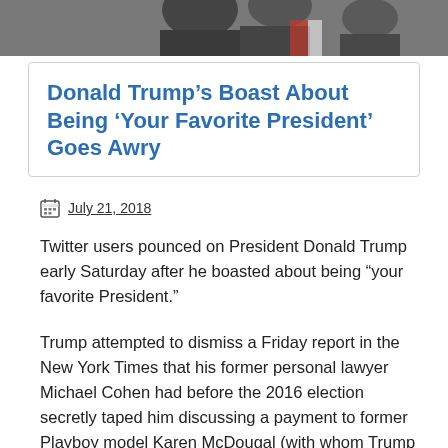[Figure (photo): Partial photo of people at the top of the article, cropped at the bottom of the image frame.]
Donald Trump’s Boast About Being ‘Your Favorite President’ Goes Awry
July 21, 2018
Twitter users pounced on President Donald Trump early Saturday after he boasted about being “your favorite President.”
Trump attempted to dismiss a Friday report in the New York Times that his former personal lawyer Michael Cohen had before the 2016 election secretly taped him discussing a payment to former Playboy model Karen McDougal (with whom Trump is alleged to have had an affair) with the following tweet: